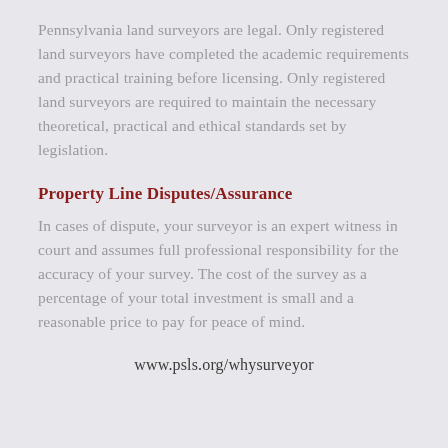Pennsylvania land surveyors are legal. Only registered land surveyors have completed the academic requirements and practical training before licensing. Only registered land surveyors are required to maintain the necessary theoretical, practical and ethical standards set by legislation.
Property Line Disputes/Assurance
In cases of dispute, your surveyor is an expert witness in court and assumes full professional responsibility for the accuracy of your survey. The cost of the survey as a percentage of your total investment is small and a reasonable price to pay for peace of mind.
www.psls.org/whysurveyor